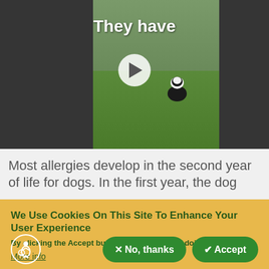[Figure (screenshot): Video thumbnail showing a dog running on a green lawn with 'They have' text overlay and a play button in the center. The video player shows a border collie on grass with dark/blurred side panels.]
Most allergies develop in the second year of life for dogs. In the first year, the dog
We Use Cookies On This Site To Enhance Your User Experience
By clicking the Accept button, you agree to us doing so.
More info